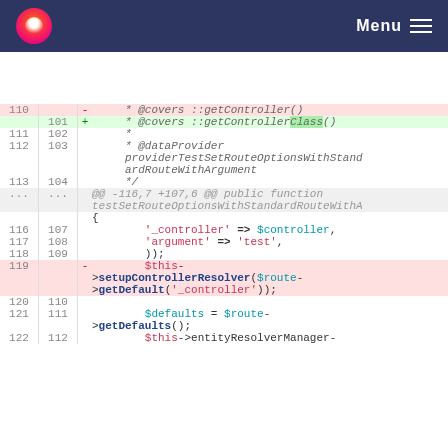Menu
[Figure (screenshot): Code diff view showing PHP test file changes. Lines 110-122 with removed and added lines highlighted in red and green. Shows @covers annotation change from ::getController() to ::getControllerClass(), and removal of setupControllerResolver call.]